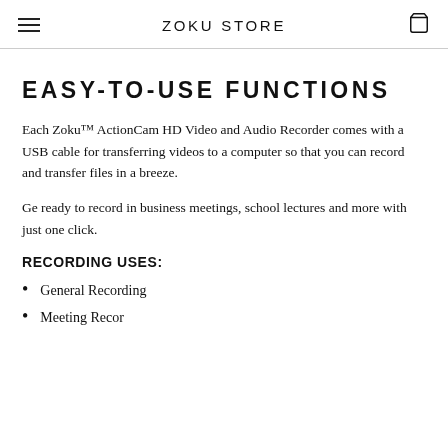ZOKU STORE
EASY-TO-USE FUNCTIONS
Each Zoku™ ActionCam HD Video and Audio Recorder comes with a USB cable for transferring videos to a computer so that you can record and transfer files in a breeze.
Ge ready to record in business meetings, school lectures and more with just one click.
RECORDING USES:
General Recording
Meeting Recor…